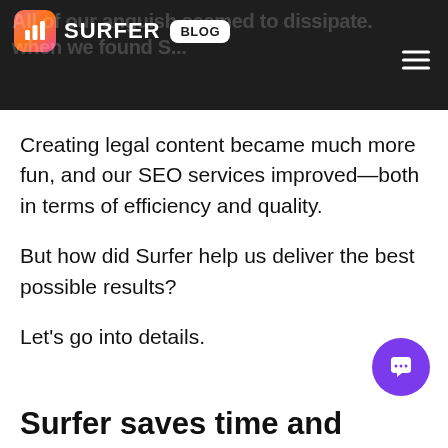SURFER BLOG
Creating legal content became much more fun, and our SEO services improved—both in terms of efficiency and quality.
But how did Surfer help us deliver the best possible results?
Let's go into details.
Surfer saves time and